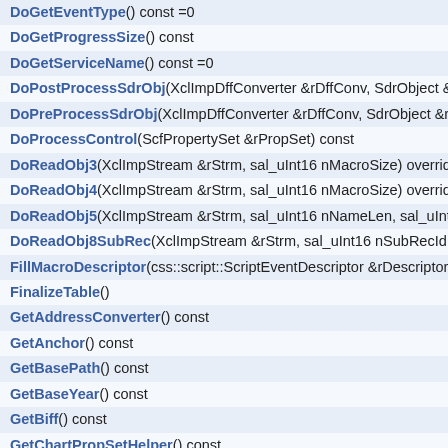DoGetEventType() const =0
DoGetProgressSize() const
DoGetServiceName() const =0
DoPostProcessSdrObj(XclImpDffConverter &rDffConv, SdrObject &r…
DoPreProcessSdrObj(XclImpDffConverter &rDffConv, SdrObject &rS…
DoProcessControl(ScfPropertySet &rPropSet) const
DoReadObj3(XclImpStream &rStrm, sal_uInt16 nMacroSize) override
DoReadObj4(XclImpStream &rStrm, sal_uInt16 nMacroSize) override
DoReadObj5(XclImpStream &rStrm, sal_uInt16 nNameLen, sal_uInt1…
DoReadObj8SubRec(XclImpStream &rStrm, sal_uInt16 nSubRecId, s…
FillMacroDescriptor(css::script::ScriptEventDescriptor &rDescriptor) …
FinalizeTable()
GetAddressConverter() const
GetAnchor() const
GetBasePath() const
GetBaseYear() const
GetBiff() const
GetChartPropSetHelper() const
GetCharWidth() const
GetCondFormatManager() const
GetCurrScTab() const
GetCurrSheetDrawing() const